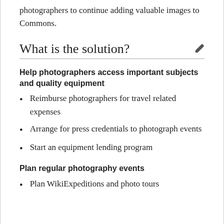photographers to continue adding valuable images to Commons.
What is the solution?
Help photographers access important subjects and quality equipment
Reimburse photographers for travel related expenses
Arrange for press credentials to photograph events
Start an equipment lending program
Plan regular photography events
Plan WikiExpeditions and photo tours